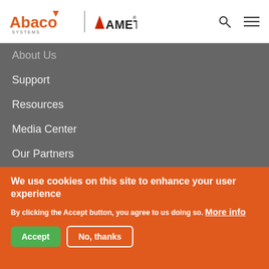[Figure (logo): Abaco Systems logo with orange triangle and AMETEK logo]
About Us
Support
Resources
Media Center
Our Partners
Careers
Login
Social
We use cookies on this site to enhance your user experience
By clicking the Accept button, you agree to us doing so. More info